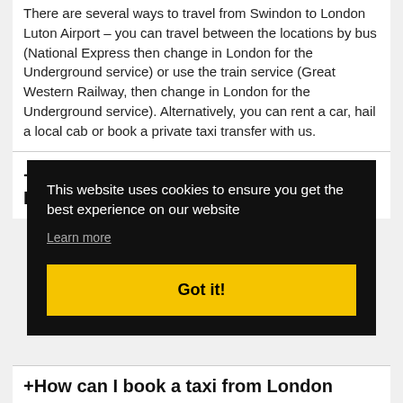There are several ways to travel from Swindon to London Luton Airport – you can travel between the locations by bus (National Express then change in London for the Underground service) or use the train service (Great Western Railway, then change in London for the Underground service). Alternatively, you can rent a car, hail a local cab or book a private taxi transfer with us.
+How long does it take from London Luton Airport to Swindon?
This website uses cookies to ensure you get the best experience on our website
Learn more
Got it!
+How can I book a taxi from London